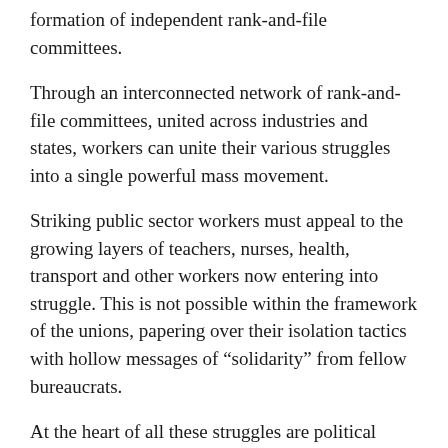formation of independent rank-and-file committees.
Through an interconnected network of rank-and-file committees, united across industries and states, workers can unite their various struggles into a single powerful mass movement.
Striking public sector workers must appeal to the growing layers of teachers, nurses, health, transport and other workers now entering into struggle. This is not possible within the framework of the unions, papering over their isolation tactics with hollow messages of “solidarity” from fellow bureaucrats.
At the heart of all these struggles are political issues of global significance. The fight for pay and conditions is bound up with the struggle to end the COVID-19 pandemic and the US-NATO war against Russia. In each case, workers find themselves in conflict with the